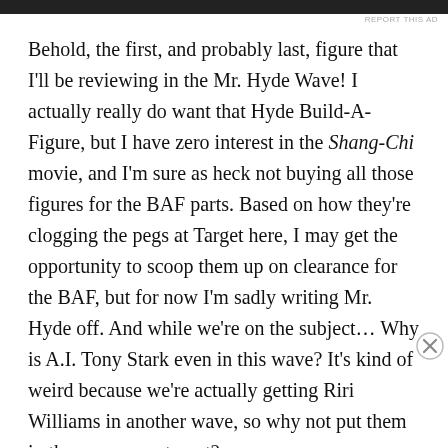[Figure (other): Top advertisement bar (dark/black banner)]
REPORT THIS AD
Behold, the first, and probably last, figure that I'll be reviewing in the Mr. Hyde Wave! I actually really do want that Hyde Build-A-Figure, but I have zero interest in the Shang-Chi movie, and I'm sure as heck not buying all those figures for the BAF parts. Based on how they're clogging the pegs at Target here, I may get the opportunity to scoop them up on clearance for the BAF, but for now I'm sadly writing Mr. Hyde off. And while we're on the subject… Why is A.I. Tony Stark even in this wave? It's kind of weird because we're actually getting Riri Williams in another wave, so why not put them in the same assortment?
Advertisements
[Figure (other): Ulta Beauty advertisement banner showing makeup/beauty images with SHOP NOW call to action]
REPORT THIS AD